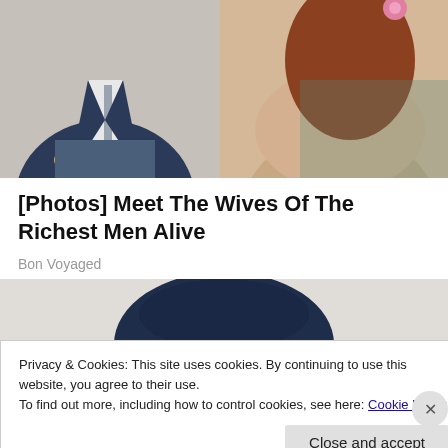[Figure (photo): Photo of a couple sitting together — man in dark blue suit on the left, woman in beige lace outfit on the right with pink flower accessory]
[Photos] Meet The Wives Of The Richest Men Alive
Bon Voyaged
[Figure (illustration): Illustrated caricature of an older man with white hair wearing a large dark navy cowboy hat, peeking from below the brim]
Privacy & Cookies: This site uses cookies. By continuing to use this website, you agree to their use.
To find out more, including how to control cookies, see here: Cookie Policy
Close and accept